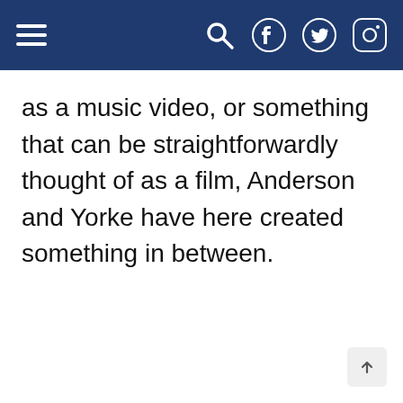Navigation bar with hamburger menu, search, Facebook, Twitter, and Instagram icons
as a music video, or something that can be straightforwardly thought of as a film, Anderson and Yorke have here created something in between.